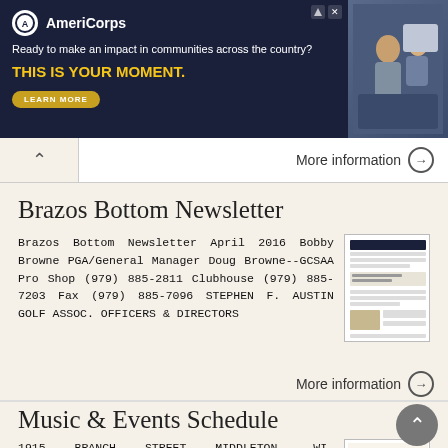[Figure (infographic): AmeriCorps advertisement banner with dark navy background, logo, text 'Ready to make an impact in communities across the country?', 'THIS IS YOUR MOMENT.' in yellow, a Learn More button, and a photo of people on the right.]
More information →
Brazos Bottom Newsletter
Brazos Bottom Newsletter April 2016 Bobby Browne PGA/General Manager Doug Browne--GCSAA Pro Shop (979) 885-2811 Clubhouse (979) 885-7203 Fax (979) 885-7096 STEPHEN F. AUSTIN GOLF ASSOC. OFFICERS & DIRECTORS
More information →
Music & Events Schedule
1915 BRANCH STREET MIDDLETON, WI. 53562    608-836-3773 moose@clubtavern.com